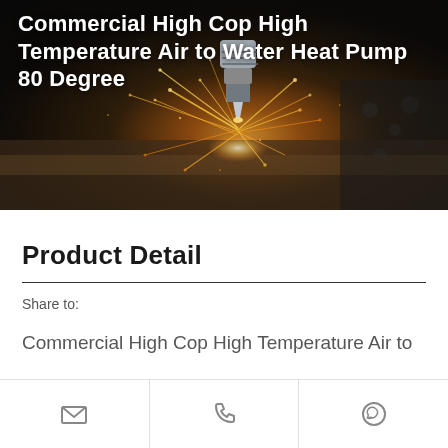[Figure (photo): Industrial laser cutting machine with bright sparks flying, close-up of laser head cutting metal with orange sparks against a dark background]
Commercial High Cop High Temperature Air to Water Heat Pump 80 Degree
Product Detail
Share to:
Commercial High Cop High Temperature Air to
Email | Phone | WhatsApp